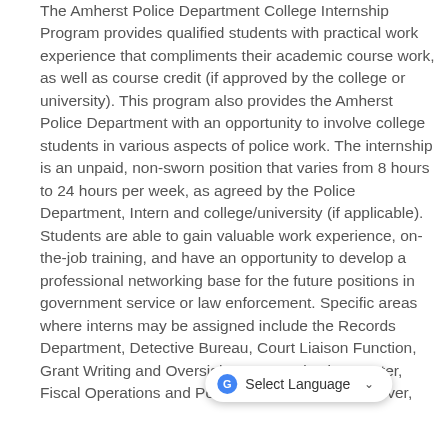The Amherst Police Department College Internship Program provides qualified students with practical work experience that compliments their academic course work, as well as course credit (if approved by the college or university). This program also provides the Amherst Police Department with an opportunity to involve college students in various aspects of police work. The internship is an unpaid, non-sworn position that varies from 8 hours to 24 hours per week, as agreed by the Police Department, Intern and college/university (if applicable). Students are able to gain valuable work experience, on-the-job training, and have an opportunity to develop a professional networking base for the future positions in government service or law enforcement. Specific areas where interns may be assigned include the Records Department, Detective Bureau, Court Liaison Function, Grant Writing and Oversight, Communication Center, Fiscal Operations and Police Administration. However,